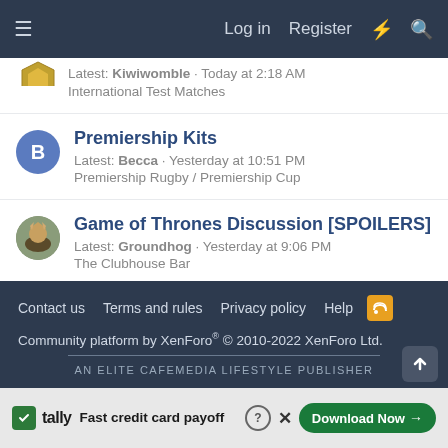≡   Log in   Register   ⚡   🔍
Latest: Kiwiwomble · Today at 2:18 AM
International Test Matches
Premiership Kits
Latest: Becca · Yesterday at 10:51 PM
Premiership Rugby / Premiership Cup
Game of Thrones Discussion [SPOILERS]
Latest: Groundhog · Yesterday at 9:06 PM
The Clubhouse Bar
< Rugby Video Games & Apps
Contact us   Terms and rules   Privacy policy   Help   [RSS]
Community platform by XenForo® © 2010-2022 XenForo Ltd.
AN ELITE CAFEMEDIA LIFESTYLE PUBLISHER
[Figure (screenshot): Advertisement banner: Tally app - Fast credit card payoff, Download Now button]